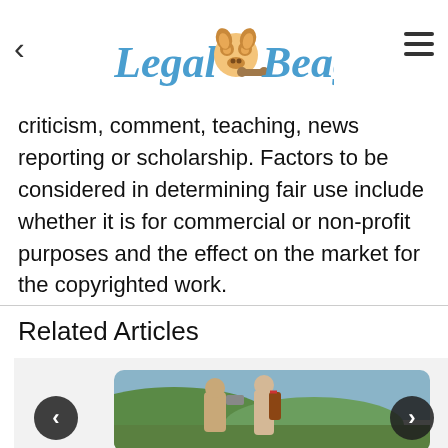Legal Beagle
criticism, comment, teaching, news reporting or scholarship. Factors to be considered in determining fair use include whether it is for commercial or non-profit purposes and the effect on the market for the copyrighted work.
Related Articles
[Figure (photo): Two people outdoors on green hills, one taking a photo with a smartphone]